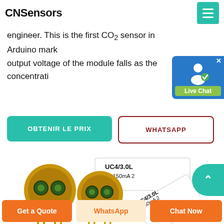CNSensors
engineer. This is the first CO2 sensor in Arduino mark output voltage of the module falls as the concentrati
[Figure (screenshot): Live Chat widget with user icon and teal button]
OBTENIR LE PRIX
WHATSAPP
[Figure (photo): Electronic CO2 sensor components labeled UC4/3.0L 0V 1:150mA 2, two cylindrical metal sensor housings with gold pins]
Get a Quote
WhatsApp
Chat Now